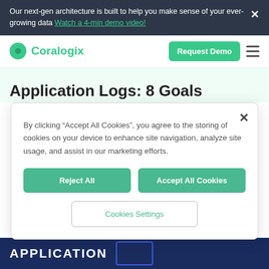Our next-gen architecture is built to help you make sense of your ever-growing data Watch a 4-min demo video!
[Figure (logo): Coralogix logo with green circle and green text]
Application Logs: 8 Goals
By clicking “Accept All Cookies”, you agree to the storing of cookies on your device to enhance site navigation, analyze site usage, and assist in our marketing efforts.
Reject All
Accept All Cookies
Cookies Settings
[Figure (screenshot): APPLICATION banner strip at the bottom of the page in dark blue]